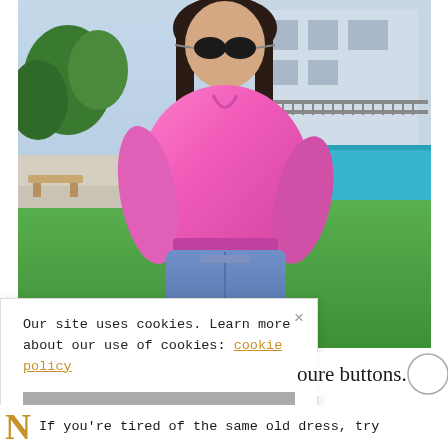[Figure (photo): A young woman wearing round sunglasses, a pink oversized shirt tied at the waist, and denim cutoff shorts, posing outdoors in front of a house with a pool, green lawn, and trees in the background.]
Our site uses cookies. Learn more about our use of cookies: cookie policy
I ACCEPT USE OF COOKIES
oure buttons.
If you're tired of the same old dress, try